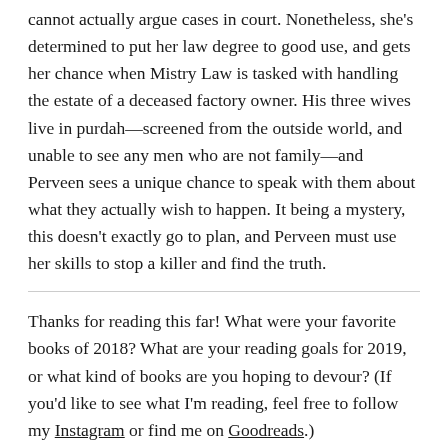cannot actually argue cases in court. Nonetheless, she's determined to put her law degree to good use, and gets her chance when Mistry Law is tasked with handling the estate of a deceased factory owner. His three wives live in purdah—screened from the outside world, and unable to see any men who are not family—and Perveen sees a unique chance to speak with them about what they actually wish to happen. It being a mystery, this doesn't exactly go to plan, and Perveen must use her skills to stop a killer and find the truth.
Thanks for reading this far! What were your favorite books of 2018? What are your reading goals for 2019, or what kind of books are you hoping to devour? (If you'd like to see what I'm reading, feel free to follow my Instagram or find me on Goodreads.)
Looking forward to hearing from you all in this new